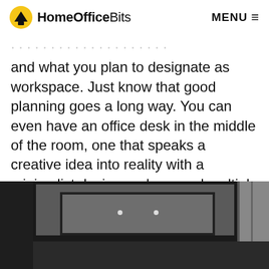HomeOfficeBits   MENU ≡
and what you plan to designate as workspace. Just know that good planning goes a long way. You can even have an office desk in the middle of the room, one that speaks a creative idea into reality with a minimalist design and unusual multiple functionality.
[Figure (photo): Interior photo of an office room with dark ceiling, recessed lighting, and dark-framed walls, viewed from below looking up at ceiling.]